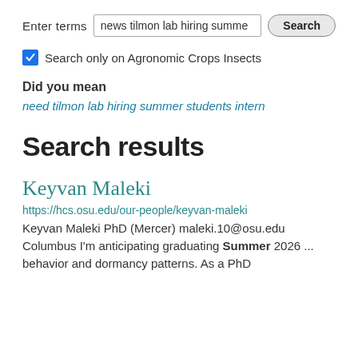Enter terms  [news tilmon lab hiring summe...]  [Search]
Search only on Agronomic Crops Insects
Did you mean
need tilmon lab hiring summer students intern
Search results
Keyvan Maleki
https://hcs.osu.edu/our-people/keyvan-maleki
Keyvan Maleki PhD (Mercer) maleki.10@osu.edu Columbus I'm anticipating graduating Summer 2026 ... behavior and dormancy patterns. As a PhD student at The Ohio State University...